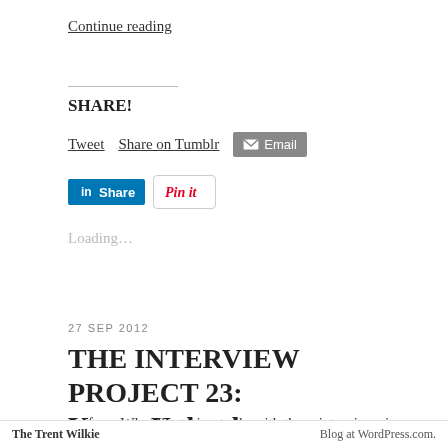Continue reading
SHARE!
Tweet  Share on Tumblr  Email  Share  Pin it
Loading...
27 SEP 2012
THE INTERVIEW PROJECT 23: Karen Unland
Preface: What I'm trying to do with these interviews is make a connection between myself and the person I'm
The Trent Wilkie  Blog at WordPress.com.